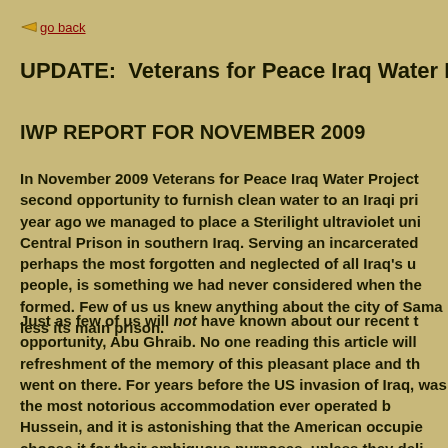go back
UPDATE:  Veterans for Peace Iraq Water Project
IWP REPORT FOR NOVEMBER 2009
In November 2009 Veterans for Peace Iraq Water Project second opportunity to furnish clean water to an Iraqi pri year ago we managed to place a Sterilight ultraviolet uni Central Prison in southern Iraq. Serving an incarcerated perhaps the most forgotten and neglected of all Iraq's u people, is something we had never considered when the formed. Few of us knew anything about the city of Sam less its main prison.
Just as few of us will not have known about our recent t opportunity, Abu Ghraib. No one reading this article will refreshment of the memory of this pleasant place and th went on there. For years before the US invasion of Iraq, was the most notorious accommodation ever operated b Hussein, and it is astonishing that the American occupie choose it for their ambiguous purposes, unless they deli sought to usurp and appropriate this symbol of tyranny